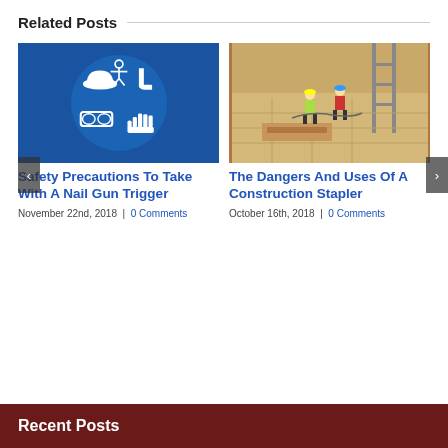Related Posts
[Figure (illustration): Blue circular safety equipment icon showing hard hat, boots, gloves, and safety glasses symbols]
[Figure (photo): Aerial view of a construction site with workers in high-visibility vests, building materials and scaffolding visible]
Safety Precautions To Take With A Nail Gun Trigger
November 22nd, 2018  |  0 Comments
The Dangers And Uses Of A Construction Stapler
October 16th, 2018  |  0 Comments
Recent Posts